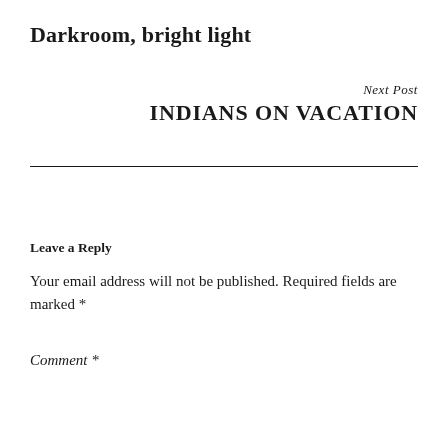Darkroom, bright light
Next Post
INDIANS ON VACATION
Leave a Reply
Your email address will not be published. Required fields are marked *
Comment *